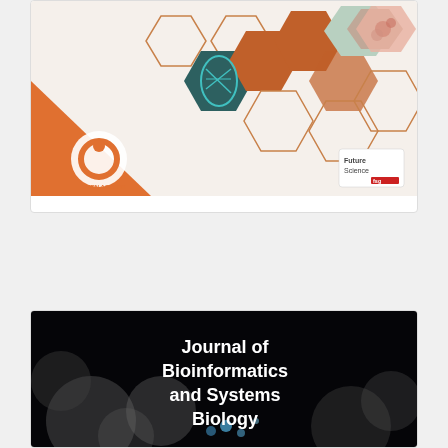[Figure (illustration): Journal cover image showing colorful hexagonal shapes with DNA, biology imagery, Open Access logo, and Future Science logo]
DBHR Published 20 jan 2022
DBHR: database relevant to Human research
[Figure (illustration): Journal of Bioinformatics and Systems Biology cover — black background with glowing bokeh circles and white bold text]